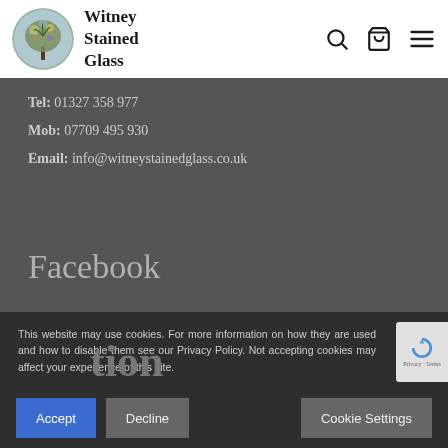[Figure (logo): Witney Stained Glass logo: circular stained glass tree design with brand name]
Tel: 01327 358 977
Mob: 07709 495 930
Email: info@witneystainedglass.co.uk
Facebook
This website may use cookies. For more information on how they are used and how to disable them see our Privacy Policy. Not accepting cookies may affect your experience of this site.
Accept   Decline   Cookie Settings